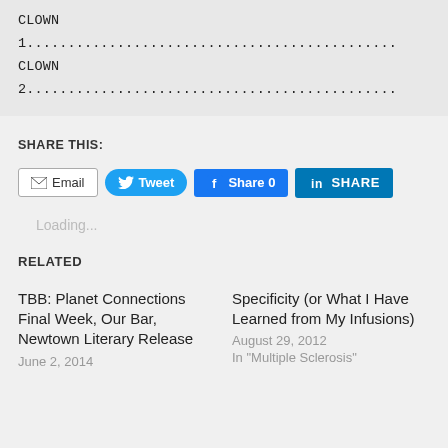CLOWN 1............................................
CLOWN 2............................................
SHARE THIS:
[Figure (other): Social share buttons: Email, Tweet, Share 0 (Facebook), SHARE (LinkedIn)]
Loading...
RELATED
TBB: Planet Connections Final Week, Our Bar, Newtown Literary Release
June 2, 2014
Specificity (or What I Have Learned from My Infusions)
August 29, 2012
In "Multiple Sclerosis"